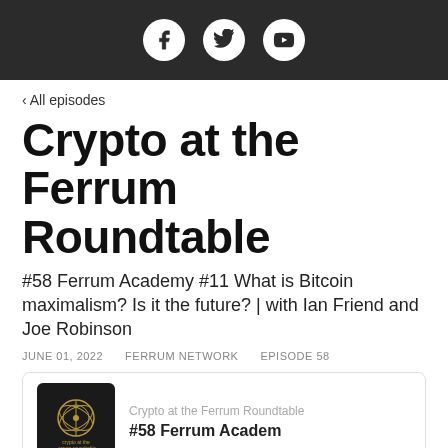[Figure (illustration): Dark header bar with three social media icons (Facebook, Twitter, YouTube) as white circles on dark background]
‹ All episodes
Crypto at the Ferrum Roundtable
#58 Ferrum Academy #11 What is Bitcoin maximalism? Is it the future? | with Ian Friend and Joe Robinson
JUNE 01, 2022    FERRUM NETWORK    EPISODE 58
[Figure (screenshot): Podcast card showing the Crypto at the Ferrum Roundtable logo (dark square with golden circular emblem) on the left, podcast show name and episode title on the right]